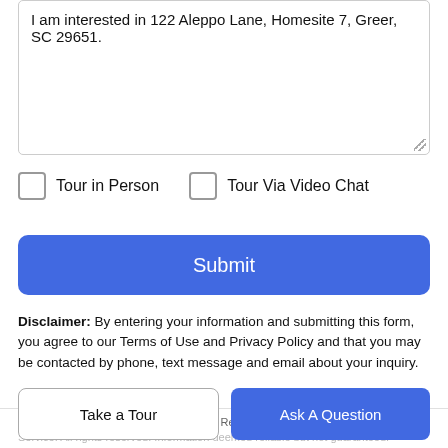I am interested in 122 Aleppo Lane, Homesite 7, Greer, SC 29651.
Tour in Person
Tour Via Video Chat
Submit
Disclaimer: By entering your information and submitting this form, you agree to our Terms of Use and Privacy Policy and that you may be contacted by phone, text message and email about your inquiry.
© 2022 Greater Greenville Association of Realtors Multiple Listing
Take a Tour
Ask A Question